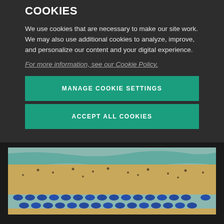COOKIES
We use cookies that are necessary to make our site work. We may also use additional cookies to analyze, improve, and personalize our content and your digital experience.
For more information, see our Cookie Policy.
MANAGE COOKIE SETTINGS
ACCEPT ALL COOKIES
[Figure (photo): Aerial view of a crowded beach with blue umbrellas in rows, sandy shore, and ocean waves.]